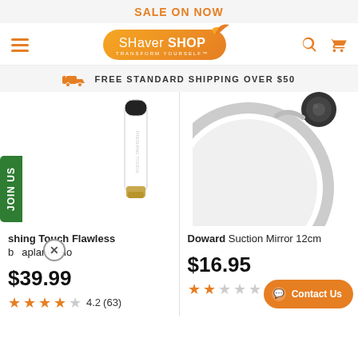SALE ON NOW
[Figure (logo): Shaver Shop logo - orange pill shape with bird, tagline TRANSFORM YOURSELF]
FREE STANDARD SHIPPING OVER $50
[Figure (photo): Partial view of a white hair removal device (Finishing Touch Flawless by Dermaplane Glo)]
[Figure (photo): Partial view of a round suction mirror (Doward Suction Mirror 12cm)]
Finishing Touch Flawless by Dermaplane Glo
$39.99
★★★★☆ 4.2  (63)
Doward Suction Mirror 12cm
$16.95
★★☆☆☆ 2.3